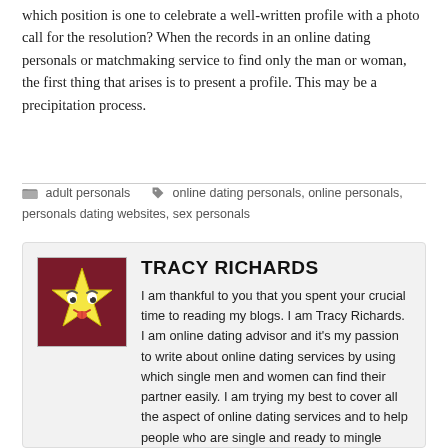which position is one to celebrate a well-written profile with a photo call for the resolution? When the records in an online dating personals or matchmaking service to find only the man or woman, the first thing that arises is to present a profile. This may be a precipitation process.
adult personals   online dating personals, online personals, personals dating websites, sex personals
[Figure (illustration): Cartoon avatar of Tracy Richards: a yellow star-shaped character with googly eyes and a red tongue sticking out, on a dark red/maroon background]
TRACY RICHARDS
I am thankful to you that you spent your crucial time to reading my blogs. I am Tracy Richards. I am online dating advisor and it's my passion to write about online dating services by using which single men and women can find their partner easily. I am trying my best to cover all the aspect of online dating services and to help people who are single and ready to mingle using internet.